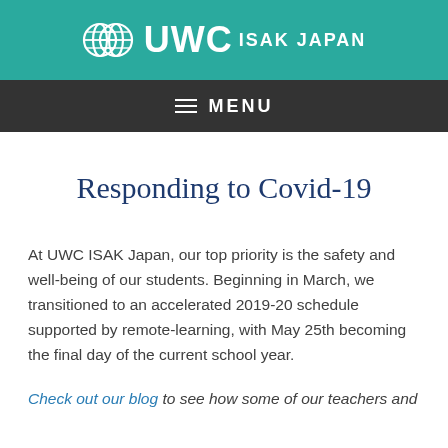UWC ISAK JAPAN
MENU
Responding to Covid-19
At UWC ISAK Japan, our top priority is the safety and well-being of our students. Beginning in March, we transitioned to an accelerated 2019-20 schedule supported by remote-learning, with May 25th becoming the final day of the current school year.
Check out our blog to see how some of our teachers and